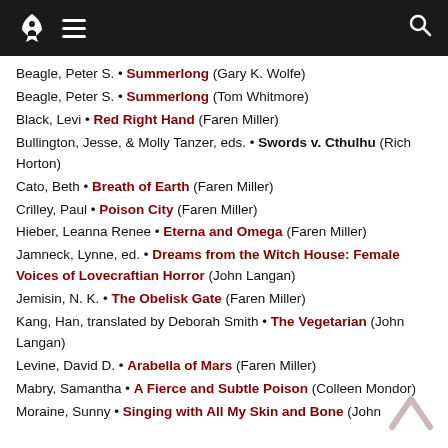Navigation header with rocket logo, menu icon, and search icon
Beagle, Peter S. • Summerlong (Gary K. Wolfe)
Beagle, Peter S. • Summerlong (Tom Whitmore)
Black, Levi • Red Right Hand (Faren Miller)
Bullington, Jesse, & Molly Tanzer, eds. • Swords v. Cthulhu (Rich Horton)
Cato, Beth • Breath of Earth (Faren Miller)
Crilley, Paul • Poison City (Faren Miller)
Hieber, Leanna Renee • Eterna and Omega (Faren Miller)
Jamneck, Lynne, ed. • Dreams from the Witch House: Female Voices of Lovecraftian Horror (John Langan)
Jemisin, N. K. • The Obelisk Gate (Faren Miller)
Kang, Han, translated by Deborah Smith • The Vegetarian (John Langan)
Levine, David D. • Arabella of Mars (Faren Miller)
Mabry, Samantha • A Fierce and Subtle Poison (Colleen Mondor)
Moraine, Sunny • Singing with All My Skin and Bone (John